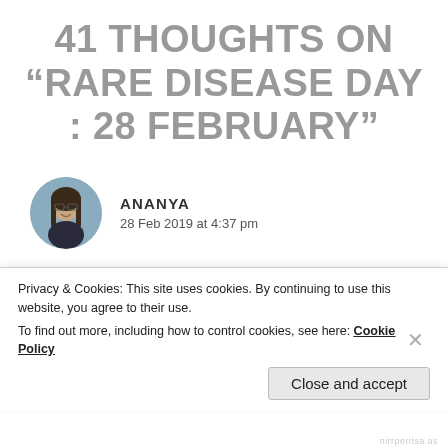41 THOUGHTS ON “RARE DISEASE DAY : 28 FEBRUARY”
[Figure (photo): Circular avatar photo of Ananya, a young woman with glasses and long hair, outdoors.]
ANANYA
28 Feb 2019 at 4:37 pm
Thanks for sharing!! Great post..Really informative..It helped me add one more thing in my knowledge. Thankyou!! 👍😊
Privacy & Cookies: This site uses cookies. By continuing to use this website, you agree to their use.
To find out more, including how to control cookies, see here: Cookie Policy
Close and accept